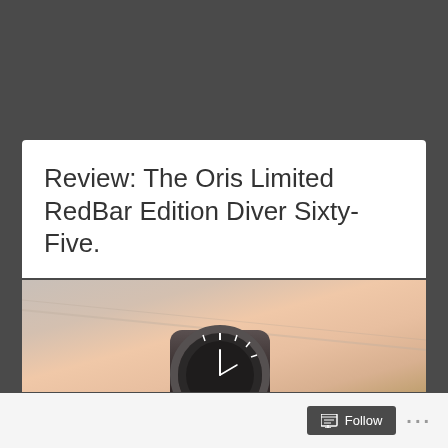MONTH: SEPTEMBER 2018
Review: The Oris Limited RedBar Edition Diver Sixty-Five.
[Figure (photo): A wristwatch on a person's wrist, showing what appears to be the Oris Limited RedBar Edition Diver Sixty-Five watch with a dark dial and brown leather strap.]
Follow